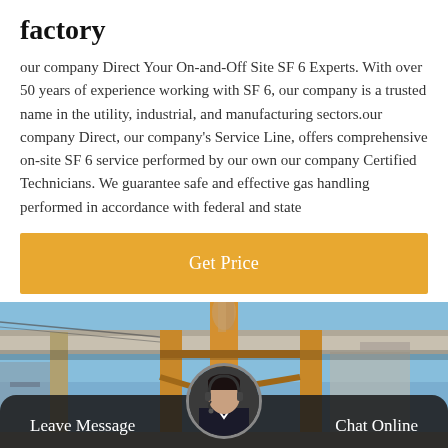factory
our company Direct Your On-and-Off Site SF 6 Experts. With over 50 years of experience working with SF 6, our company is a trusted name in the utility, industrial, and manufacturing sectors.our company Direct, our company's Service Line, offers comprehensive on-site SF 6 service performed by our own our company Certified Technicians. We guarantee safe and effective gas handling performed in accordance with federal and state
Get Price
[Figure (photo): Industrial outdoor scene showing yellow metal frame structures under a concrete canopy, with power lines and equipment visible in the background under a blue sky.]
Leave Message
Chat Online